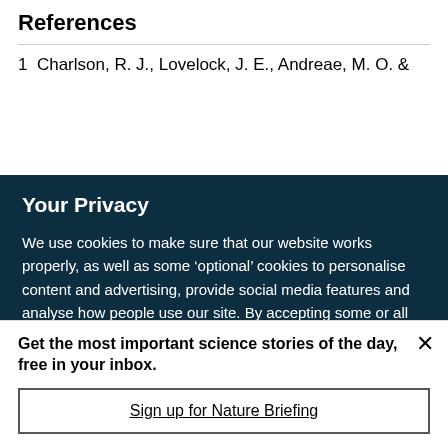References
1  Charlson, R. J., Lovelock, J. E., Andreae, M. O. &
Your Privacy
We use cookies to make sure that our website works properly, as well as some ‘optional’ cookies to personalise content and advertising, provide social media features and analyse how people use our site. By accepting some or all optional cookies you give consent to the processing of your personal data, including transfer to third parties, some in countries outside of the European Economic Area that do not offer the same data protection standards as the country where you live. You can decide which optional cookies to accept by clicking on ‘Manage Settings’, where you can
Get the most important science stories of the day, free in your inbox.
Sign up for Nature Briefing